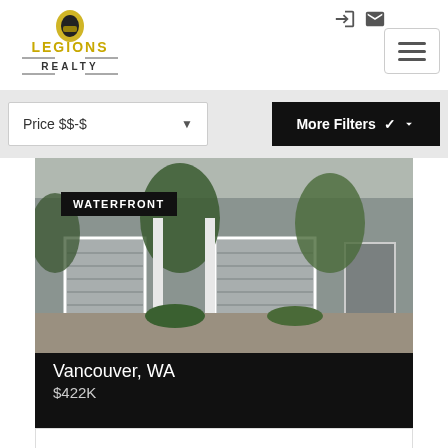[Figure (logo): Legions Realty logo with knight helmet graphic, black and gold text]
Price $$-$
More Filters ▾
[Figure (photo): Exterior photo of townhomes with garages and trees]
WATERFRONT
Vancouver, WA
$422K